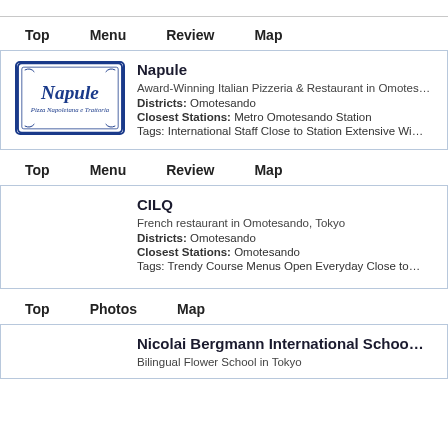Top  Menu  Review  Map
Napule
Award-Winning Italian Pizzeria & Restaurant in Omote...
Districts: Omotesando
Closest Stations: Metro Omotesando Station
Tags: International Staff Close to Station Extensive Wi...
Top  Menu  Review  Map
CILQ
French restaurant in Omotesando, Tokyo
Districts: Omotesando
Closest Stations: Omotesando
Tags: Trendy Course Menus Open Everyday Close to...
Top  Photos  Map
Nicolai Bergmann International Schoo...
Bilingual Flower School in Tokyo